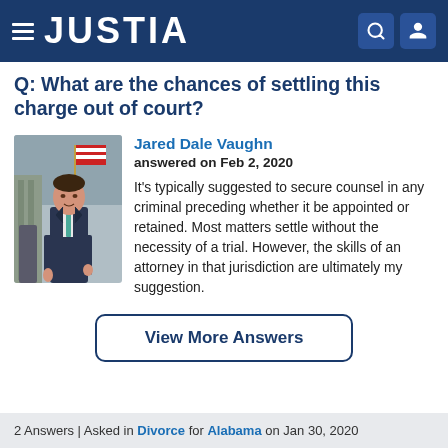JUSTIA
Q: What are the chances of settling this charge out of court?
[Figure (photo): Photo of lawyer Jared Dale Vaughn standing in front of a building with an American flag, wearing a dark suit and teal tie.]
Jared Dale Vaughn
answered on Feb 2, 2020

It's typically suggested to secure counsel in any criminal preceding whether it be appointed or retained. Most matters settle without the necessity of a trial. However, the skills of an attorney in that jurisdiction are ultimately my suggestion.
View More Answers
2 Answers | Asked in Divorce for Alabama on Jan 30, 2020